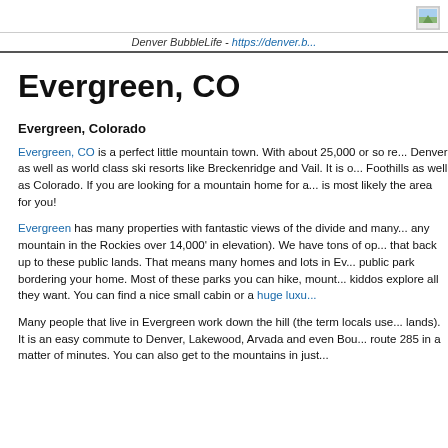Denver BubbleLife - https://denver.b...
Evergreen, CO
Evergreen, Colorado
Evergreen, CO is a perfect little mountain town. With about 25,000 or so re... Denver as well as world class ski resorts like Breckenridge and Vail. It is o... Foothills as well as Colorado. If you are looking for a mountain home for a... is most likely the area for you!
Evergreen has many properties with fantastic views of the divide and many... any mountain in the Rockies over 14,000' in elevation). We have tons of op... that back up to these public lands. That means many homes and lots in Ev... public park bordering your home. Most of these parks you can hike, mount... kiddos explore all they want. You can find a nice small cabin or a huge luxu...
Many people that live in Evergreen work down the hill (the term locals use... lands). It is an easy commute to Denver, Lakewood, Arvada and even Bou... route 285 in a matter of minutes. You can also get to the mountains in just ...